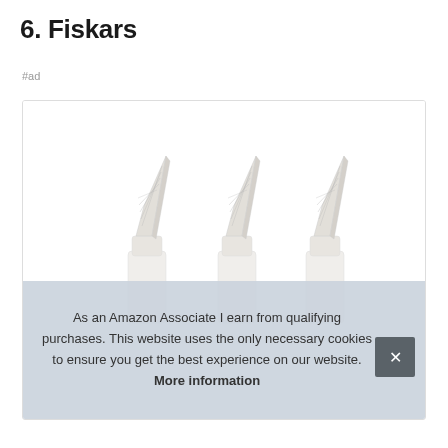6. Fiskars
#ad
[Figure (photo): Three white craft knife or calligraphy pen tips arranged side by side, with angular pointed metal nibs on white cylindrical bodies, shown against a white background inside a bordered product box.]
As an Amazon Associate I earn from qualifying purchases. This website uses the only necessary cookies to ensure you get the best experience on our website. More information